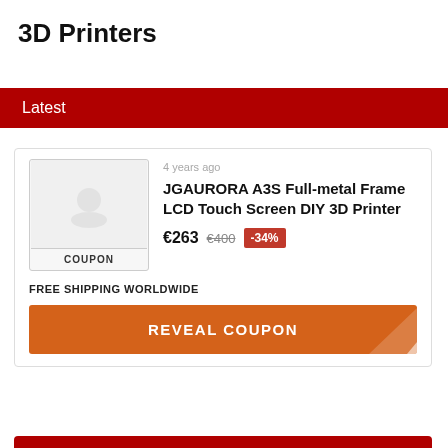3D Printers
Latest
4 years ago
JGAURORA A3S Full-metal Frame LCD Touch Screen DIY 3D Printer
€263  €400  -34%
COUPON
FREE SHIPPING WORLDWIDE
REVEAL COUPON